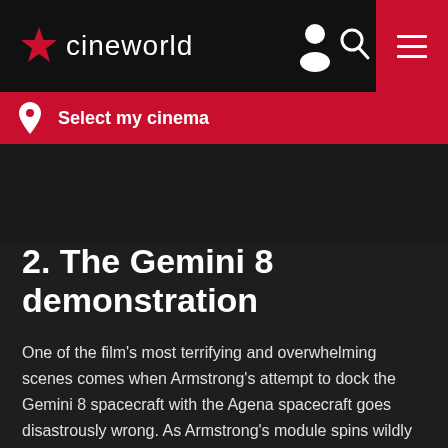cineworld
Select my cinema
2. The Gemini 8 demonstration
One of the film's most terrifying and overwhelming scenes comes when Armstrong's attempt to dock the Gemini 8 spacecraft with the Agena spacecraft goes disastrously wrong. As Armstrong's module spins wildly out of control, Chazelle marshals all manner of discordant sound effects and whirling camera moves that are sure to induce sweaty palms when witnessed in IMAX.